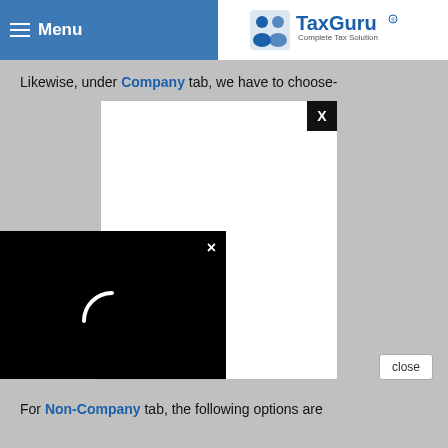Menu | TaxGuru - Complete Tax Solution
Likewise, under Company tab, we have to choose-
[Figure (screenshot): White modal dialog with black close button (X) overlapping a black video loading overlay with white X close button and a white spinner/loading arc in the center]
> Domestic company
> Foreign Company
For Non-Company tab, the following options are